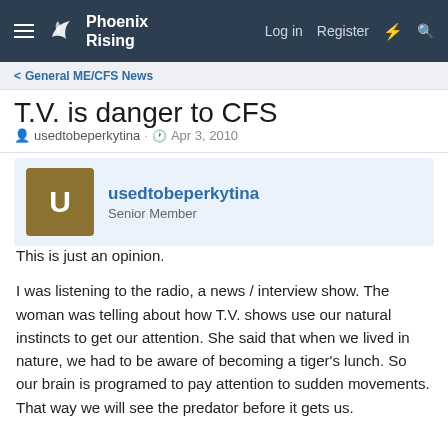Phoenix Rising — Log in  Register
< General ME/CFS News
T.V. is danger to CFS
usedtobeperkytina · Apr 3, 2010
usedtobeperkytina
Senior Member
This is just an opinion.

I was listening to the radio, a news / interview show. The woman was telling about how T.V. shows use our natural instincts to get our attention. She said that when we lived in nature, we had to be aware of becoming a tiger's lunch. So our brain is programed to pay attention to sudden movements. That way we will see the predator before it gets us.